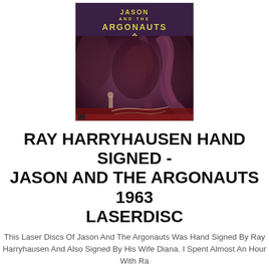[Figure (photo): Cover of Jason and the Argonauts 1963 Laserdisc, showing yellow title text 'JASON AND THE ARGONAUTS' at top, creature/monster artwork on dark purple/red background, with signatures visible at bottom]
RAY HARRYHAUSEN HAND SIGNED - JASON AND THE ARGONAUTS 1963 LASERDISC
This Laser Discs Of Jason And The Argonauts Was Hand Signed By Ray Harryhausen And Also Signed By His Wife Diana. I Spent Almost An Hour With Ray And His Wife Diana When I Had Them Sign This Laser Disk Back In 1998.
$3495.00